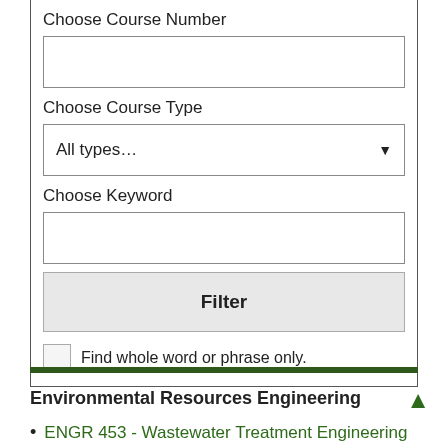Choose Course Number
Choose Course Type
All types…
Choose Keyword
Filter
Find whole word or phrase only.
Environmental Resources Engineering
ENGR 453 - Wastewater Treatment Engineering